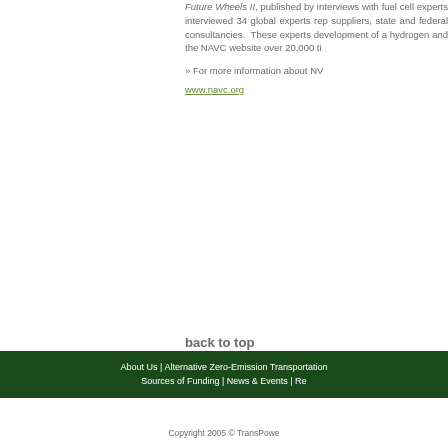Future Wheels II, published by interviews with fuel cell experts interviewed 34 global experts rep suppliers, state and federal consultancies. These experts development of a hydrogen and the NAVC website over 20,000 ti
» For more information about NV
www.navc.org
back to top
About Us | Alternative Zero-Emission Transportation Sources of Funding | News & Events | Re
Copyright 2005 © TransPowe